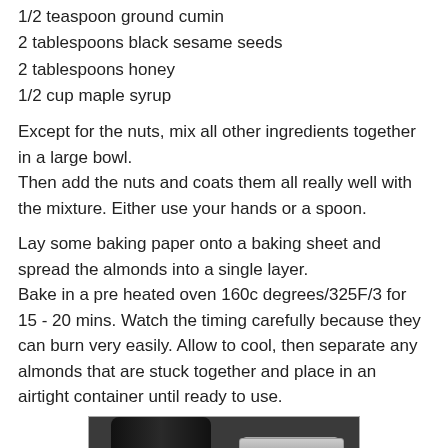1/2 teaspoon ground cumin
2 tablespoons black sesame seeds
2 tablespoons honey
1/2 cup maple syrup
Except for the nuts, mix all other ingredients together in a large bowl.
Then add the nuts and coats them all really well with the mixture. Either use your hands or a spoon.
Lay some baking paper onto a baking sheet and spread the almonds into a single layer.
Bake in a pre heated oven 160c degrees/325F/3 for 15 - 20 mins. Watch the timing carefully because they can burn very easily. Allow to cool, then separate any almonds that are stuck together and place in an airtight container until ready to use.
[Figure (photo): Photo showing a dark bottle (appears to be rice vinegar or similar) with a blue label reading 'Rice' in yellow text, alongside a silver metallic measuring cup, on a dark background.]